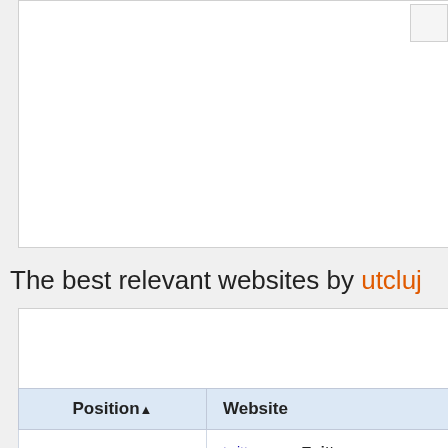The best relevant websites by utcluj
[Figure (other): Ads placeholder box]
| Position▲ | Website |
| --- | --- |
| 1 | twitter.com - Twitter
Twitter is without a doubt the best way to share and discover what is happening right now. |
| 2 | github.com - Secure source code hosting and collaborative development - GitHub |